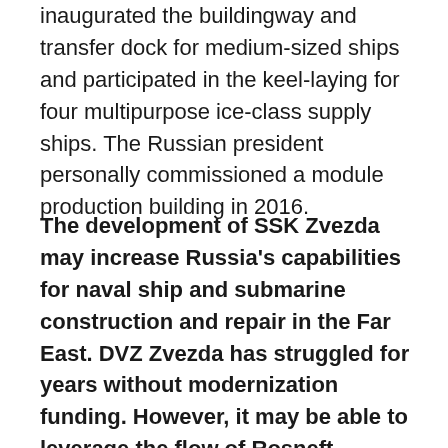inaugurated the buildingway and transfer dock for medium-sized ships and participated in the keel-laying for four multipurpose ice-class supply ships. The Russian president personally commissioned a module production building in 2016.
The development of SSK Zvezda may increase Russia's capabilities for naval ship and submarine construction and repair in the Far East. DVZ Zvezda has struggled for years without modernization funding. However, it may be able to leverage the flow of Rosneft investment and Chinese shipbuilding technology, equipment, and experience into SSK Zvezda to improve its own production capabilities. A steady stream of large civilian projects next door may increase of quantity and quality of personnel available